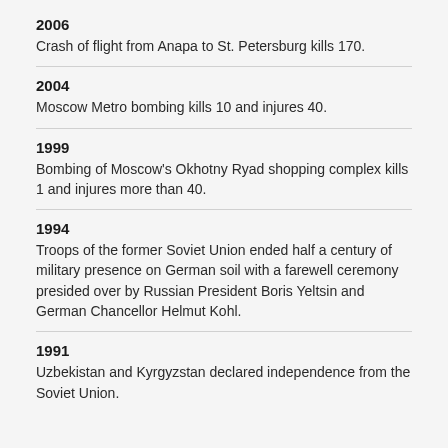2006
Crash of flight from Anapa to St. Petersburg kills 170.
2004
Moscow Metro bombing kills 10 and injures 40.
1999
Bombing of Moscow's Okhotny Ryad shopping complex kills 1 and injures more than 40.
1994
Troops of the former Soviet Union ended half a century of military presence on German soil with a farewell ceremony presided over by Russian President Boris Yeltsin and German Chancellor Helmut Kohl.
1991
Uzbekistan and Kyrgyzstan declared independence from the Soviet Union.